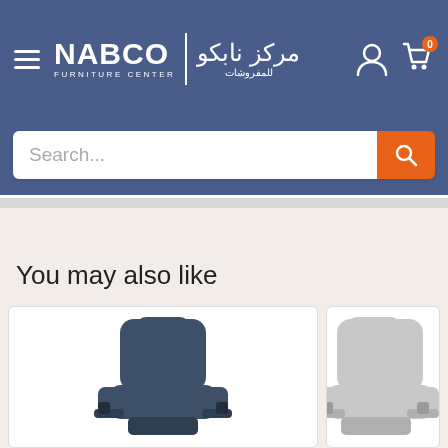NABCO Furniture Center | نابكو للمفروشات
Search...
You may also like
[Figure (photo): Dark blue/gray upholstered recliner armchair viewed from the front]
[Figure (photo): Light gray upholstered recliner armchair viewed from the front, partially visible]